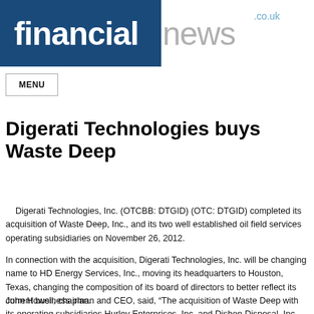[Figure (logo): Financial News .co.uk logo — dark blue rectangle on left with white bold 'financial' text, grey 'news' text on right with small blue '.co.uk' above]
MENU
Digerati Technologies buys Waste Deep
Digerati Technologies, Inc. (OTCBB: DTGID) (OTC: DTGID) completed its acquisition of Waste Deep, Inc., and its two well established oil field services operating subsidiaries on November 26, 2012.
In connection with the acquisition, Digerati Technologies, Inc. will be changing name to HD Energy Services, Inc., moving its headquarters to Houston, Texas, changing the composition of its board of directors to better reflect its current business plan.
John Howell, chairman and CEO, said, “The acquisition of Waste Deep with its operating subsidiaries Hurley Enterprises, Inc. and Dishon Disposal, Inc. provi